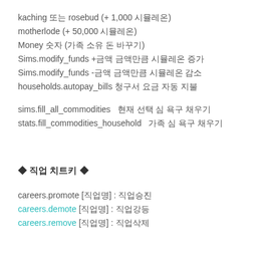kaching 또는 rosebud (+ 1,000 시뮬레온)
motherlode (+ 50,000 시뮬레온)
Money 숫자 (가족 소유 돈 바꾸기)
Sims.modify_funds +금액 금액만큼 시뮬레온 증가
Sims.modify_funds -금액 금액만큼 시뮬레온 감소
households.autopay_bills 청구서 요금 자동 지불
sims.fill_all_commodities  현재 선택 심 욕구 채우기
stats.fill_commodities_household  가족 심 욕구 채우기
◆ 직업 치트키 ◆
careers.promote [직업명] : 직업승진
careers.demote [직업명] : 직업강등
careers.remove [직업명] : 직업삭제